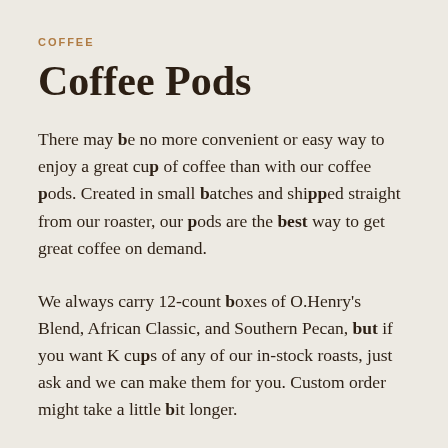COFFEE
Coffee Pods
There may be no more convenient or easy way to enjoy a great cup of coffee than with our coffee pods. Created in small batches and shipped straight from our roaster, our pods are the best way to get great coffee on demand.
We always carry 12-count boxes of O.Henry's Blend, African Classic, and Southern Pecan, but if you want K cups of any of our in-stock roasts, just ask and we can make them for you. Custom order might take a little bit longer.